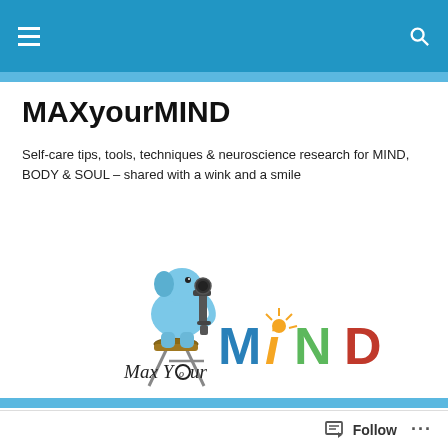MAXyourMIND navigation bar
MAXyourMIND
Self-care tips, tools, techniques & neuroscience research for MIND, BODY & SOUL – shared with a wink and a smile
[Figure (logo): MAXyourMIND logo featuring a blue elephant looking through a microscope on a stool, with colorful text reading Max Your MIND]
The Write Way to help boost your immune system
Follow